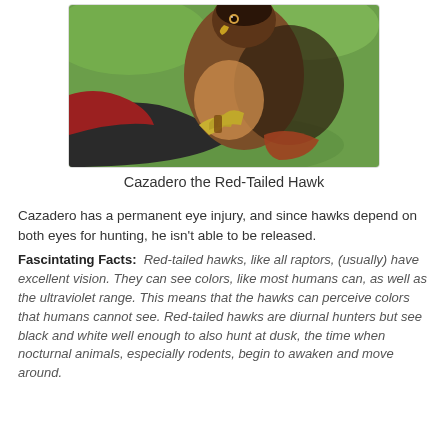[Figure (photo): A Red-Tailed Hawk named Cazadero perched on a gloved hand, photographed outdoors with green background. The hawk has brown and dark feathers with visible talons gripping a leather glove.]
Cazadero the Red-Tailed Hawk
Cazadero has a permanent eye injury, and since hawks depend on both eyes for hunting, he isn't able to be released.
Fascintating Facts:  Red-tailed hawks, like all raptors, (usually) have excellent vision. They can see colors, like most humans can, as well as the ultraviolet range. This means that the hawks can perceive colors that humans cannot see. Red-tailed hawks are diurnal hunters but see black and white well enough to also hunt at dusk, the time when nocturnal animals, especially rodents, begin to awaken and move around.